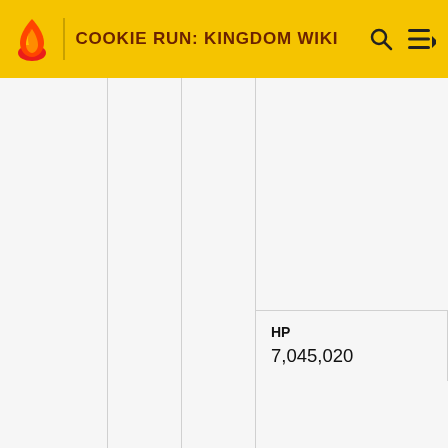COOKIE RUN: KINGDOM WIKI
| HP | DEF |
| --- | --- |
| 7,045,020 | 307,264 |
[Figure (screenshot): Advertisement banner: 'THE BATTLE TO BELONG BEGINS HERE' with LEARN MORE button and US Marines logo]
THE BATTLE TO BELONG BEGINS HERE
LEARN MORE
MARINES